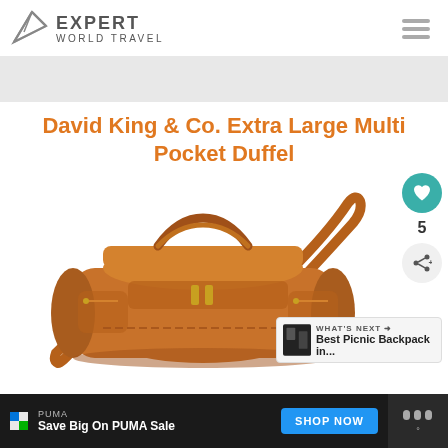EXPERT WORLD TRAVEL
David King & Co. Extra Large Multi Pocket Duffel
[Figure (photo): Brown leather duffel bag with multiple pockets and shoulder strap - David King & Co. Extra Large Multi Pocket Duffel]
WHAT'S NEXT → Best Picnic Backpack in...
PUMA
Save Big On PUMA Sale SHOP NOW